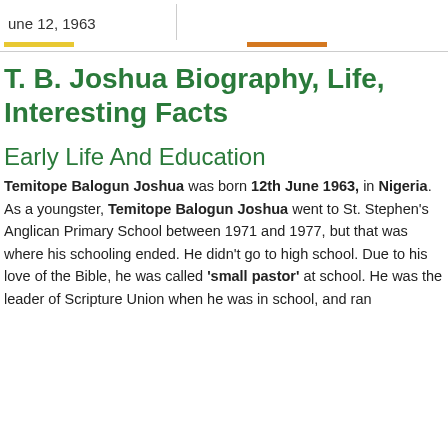June 12, 1963
T. B. Joshua Biography, Life, Interesting Facts
Early Life And Education
Temitope Balogun Joshua was born 12th June 1963, in Nigeria. As a youngster, Temitope Balogun Joshua went to St. Stephen's Anglican Primary School between 1971 and 1977, but that was where his schooling ended. He didn't go to high school. Due to his love of the Bible, he was called 'small pastor' at school. He was the leader of Scripture Union when he was in school, and ran